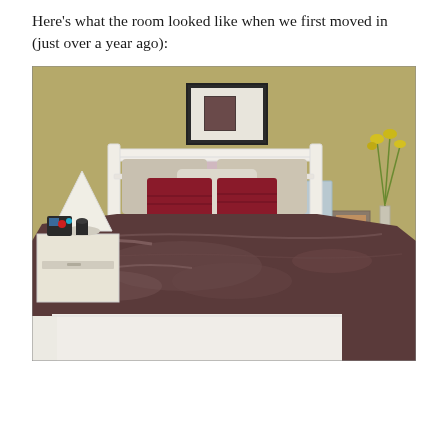Here's what the room looked like when we first moved in (just over a year ago):
[Figure (photo): Bedroom photo showing a bed with white headboard, dark brown comforter, red accent pillows, white bedside tables, a lamp on the left, yellow flowers in a vase on the right, a framed artwork and smaller canvas on the olive/tan wall behind, and dark hardwood floors.]